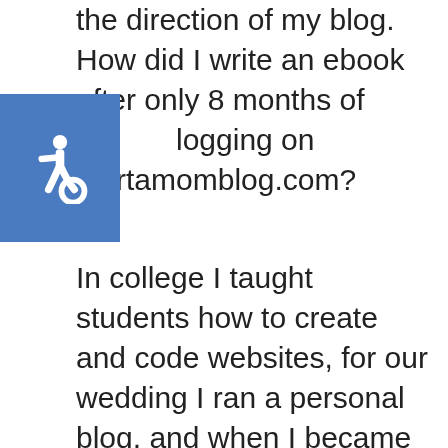the direction of my blog. How did I write an ebook after only 8 months of blogging on startamomblog.com?
[Figure (illustration): Blue accessibility icon showing wheelchair symbol on blue square background]
In college I taught students how to create and code websites, for our wedding I ran a personal blog, and when I became a stay at home mom I started blogging about our life and faith. I knew how to set up a blog, get traffic to it and monetize it.
Instead of sending my readers all over startamomblog.com, I wanted to give them a well put together and concise